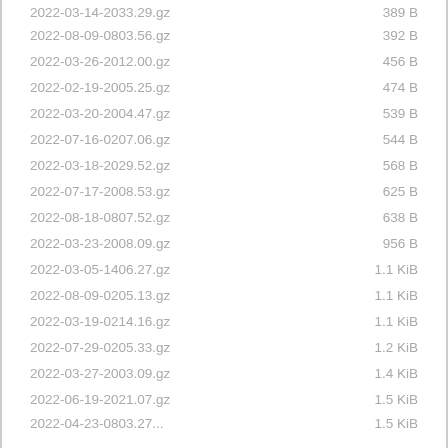| Filename | Size |
| --- | --- |
| 2022-03-14-2033.29.gz | 389 B |
| 2022-08-09-0803.56.gz | 392 B |
| 2022-03-26-2012.00.gz | 456 B |
| 2022-02-19-2005.25.gz | 474 B |
| 2022-03-20-2004.47.gz | 539 B |
| 2022-07-16-0207.06.gz | 544 B |
| 2022-03-18-2029.52.gz | 568 B |
| 2022-07-17-2008.53.gz | 625 B |
| 2022-08-18-0807.52.gz | 638 B |
| 2022-03-23-2008.09.gz | 956 B |
| 2022-03-05-1406.27.gz | 1.1 KiB |
| 2022-08-09-0205.13.gz | 1.1 KiB |
| 2022-03-19-0214.16.gz | 1.1 KiB |
| 2022-07-29-0205.33.gz | 1.2 KiB |
| 2022-03-27-2003.09.gz | 1.4 KiB |
| 2022-06-19-2021.07.gz | 1.5 KiB |
| 2022-04-23-0803.27... | 1.5 KiB |